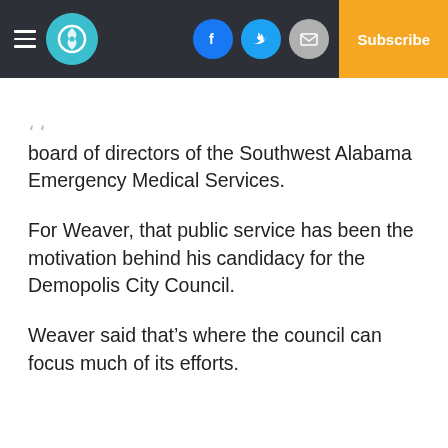The Demopolis Times — Subscribe
board of directors of the Southwest Alabama Emergency Medical Services.
For Weaver, that public service has been the motivation behind his candidacy for the Demopolis City Council.
Weaver said that’s where the council can focus much of its efforts.